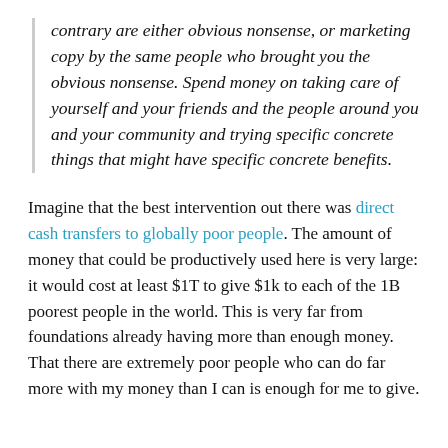contrary are either obvious nonsense, or marketing copy by the same people who brought you the obvious nonsense. Spend money on taking care of yourself and your friends and the people around you and your community and trying specific concrete things that might have specific concrete benefits.
Imagine that the best intervention out there was direct cash transfers to globally poor people. The amount of money that could be productively used here is very large: it would cost at least $1T to give $1k to each of the 1B poorest people in the world. This is very far from foundations already having more than enough money. That there are extremely poor people who can do far more with my money than I can is enough for me to give.